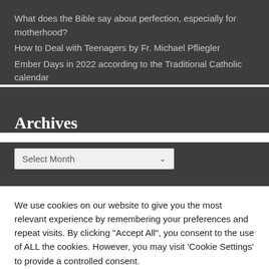What does the Bible say about perfection, especially for motherhood?
How to Deal with Teenagers by Fr. Michael Pfliegler
Ember Days in 2022 according to the Traditional Catholic calendar
Archives
Select Month
We use cookies on our website to give you the most relevant experience by remembering your preferences and repeat visits. By clicking "Accept All", you consent to the use of ALL the cookies. However, you may visit 'Cookie Settings' to provide a controlled consent.
Cookie Settings
Accept All